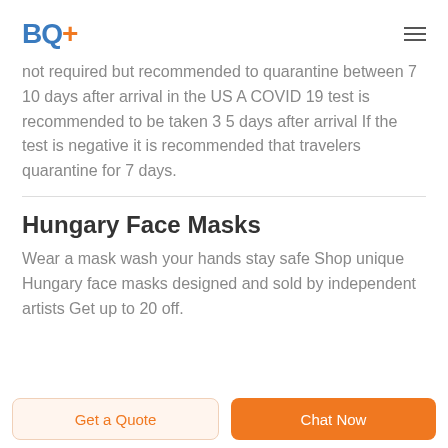BQ+
not required but recommended to quarantine between 7 10 days after arrival in the US A COVID 19 test is recommended to be taken 3 5 days after arrival If the test is negative it is recommended that travelers quarantine for 7 days.
Hungary Face Masks
Wear a mask wash your hands stay safe Shop unique Hungary face masks designed and sold by independent artists Get up to 20 off.
Get a Quote | Chat Now